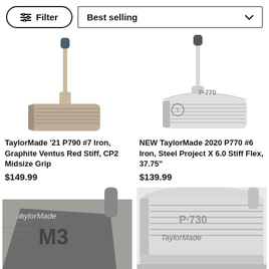[Figure (screenshot): Filter button and Best selling sort dropdown toolbar]
[Figure (photo): TaylorMade '21 P790 #7 Iron golf club product photo]
TaylorMade '21 P790 #7 Iron, Graphite Ventus Red Stiff, CP2 Midsize Grip
$149.99
[Figure (photo): NEW TaylorMade 2020 P770 #6 Iron golf club product photo]
NEW TaylorMade 2020 P770 #6 Iron, Steel Project X 6.0 Stiff Flex, 37.75"
$139.99
[Figure (photo): TaylorMade M3 iron golf club product photo, partial view]
[Figure (photo): TaylorMade P-730 iron golf club product photo, partial view]